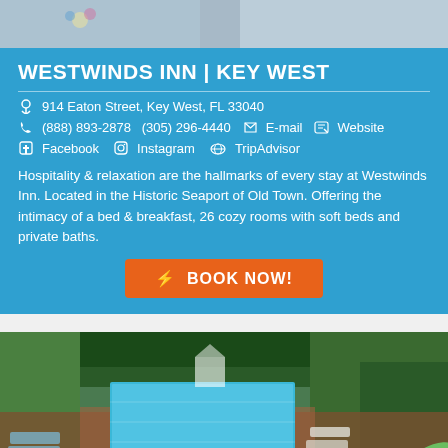[Figure (photo): Top portion of hotel photo, partially visible at top of page]
WESTWINDS INN | KEY WEST
914 Eaton Street, Key West, FL 33040
(888) 893-2878  (305) 296-4440  E-mail  Website
Facebook  Instagram  TripAdvisor
Hospitality & relaxation are the hallmarks of every stay at Westwinds Inn. Located in the Historic Seaport of Old Town. Offering the intimacy of a bed & breakfast, 26 cozy rooms with soft beds and private baths.
⚡ BOOK NOW!
[Figure (photo): Outdoor swimming pool surrounded by lounge chairs and tropical foliage at Westwinds Inn, Key West]